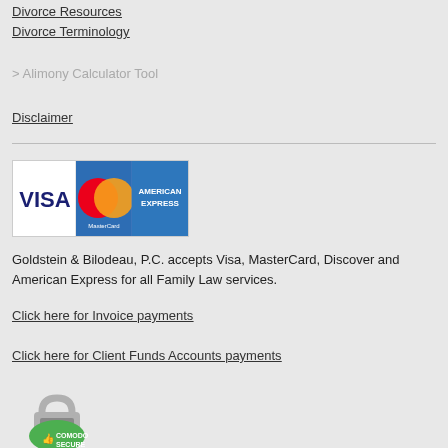Divorce Resources
Divorce Terminology
> Alimony Calculator Tool
Disclaimer
[Figure (logo): Payment method logos: Visa, MasterCard, American Express]
Goldstein & Bilodeau, P.C. accepts Visa, MasterCard, Discover and American Express for all Family Law services.
Click here for Invoice payments
Click here for Client Funds Accounts payments
[Figure (logo): Comodo Secure badge with padlock icon]